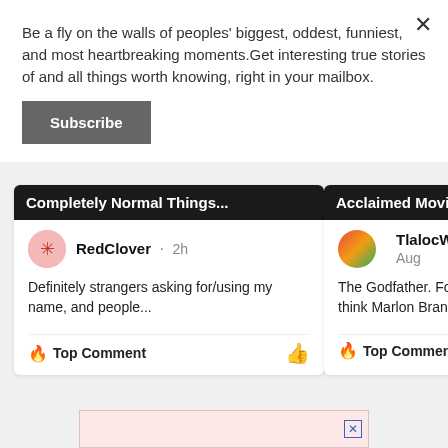Be a fly on the walls of peoples' biggest, oddest, funniest, and most heartbreaking moments.Get interesting true stories of and all things worth knowing, right in your mailbox.
Subscribe
[Figure (screenshot): Two comment cards partially visible. Left card shows 'Completely Normal Things...' banner with user RedClover, 2h, comment 'Definitely strangers asking for/using my name, and people...' and Top Comment label. Right card shows 'Acclaimed Movies T...' banner with user TlalocW, 7 Aug, comment 'The Godfather. For on... think Marlon Brando is' and Top Comment label.]
[Figure (screenshot): Advertisement bar at the bottom of the page with a pink background and close X button.]